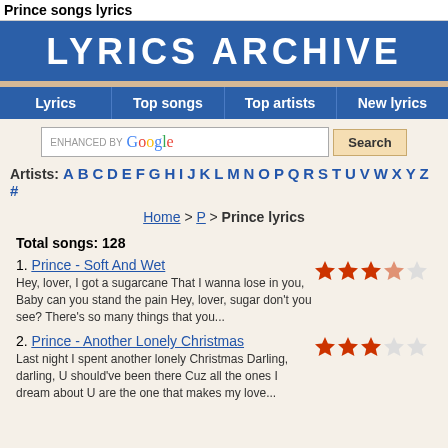Prince songs lyrics
LYRICS ARCHIVE
Lyrics | Top songs | Top artists | New lyrics
[Figure (screenshot): Search bar with ENHANCED BY Google text and Search button]
Artists: A B C D E F G H I J K L M N O P Q R S T U V W X Y Z #
Home > P > Prince lyrics
Total songs: 128
1. Prince - Soft And Wet
Hey, lover, I got a sugarcane That I wanna lose in you, Baby can you stand the pain Hey, lover, sugar don't you see? There's so many things that you...
2. Prince - Another Lonely Christmas
Last night I spent another lonely Christmas Darling, darling, U should've been there Cuz all the ones I dream about U are the one that makes my love...